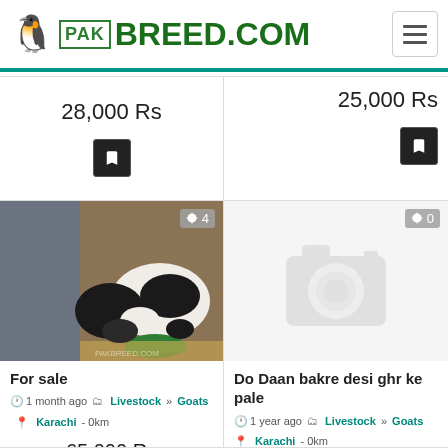PAKBREED.COM
28,000 Rs
25,000 Rs
[Figure (photo): Photo of goats in a stable eating from a green bowl, black and white coloring]
[Figure (photo): No photo placeholder with camera icon]
For sale
1 month ago  Livestock » Goats  Karachi - 0km
65,000 Rs
Do Daan bakre desi ghr ke pale
1 year ago  Livestock » Goats  Karachi - 0km